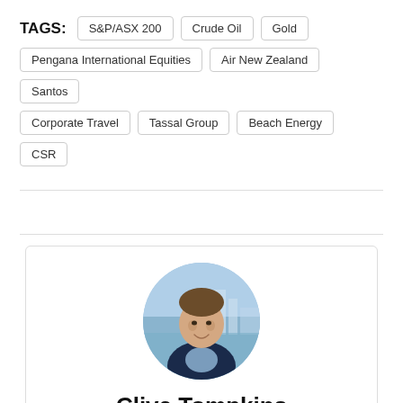TAGS: S&P/ASX 200  Crude Oil  Gold  Pengana International Equities  Air New Zealand  Santos  Corporate Travel  Tassal Group  Beach Energy  CSR
[Figure (photo): Circular portrait photo of Clive Tompkins, a man in a dark suit jacket, smiling, with a city waterfront background]
Clive Tompkins
Finance News Network